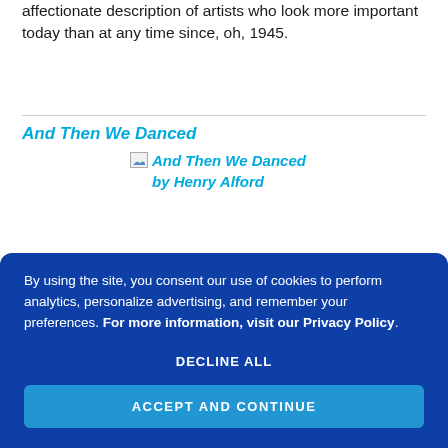affectionate description of artists who look more important today than at any time since, oh, 1945.
And Then We Danced
[Figure (illustration): Book cover image placeholder for 'And Then We Danced by Henry Alford' shown as a broken image icon with italic bold cyan text label]
By using the site, you consent our use of cookies to perform analytics, personalize advertising, and remember your preferences. For more information, visit our Privacy Policy.
DECLINE ALL
ACCEPT AND CONTINUE